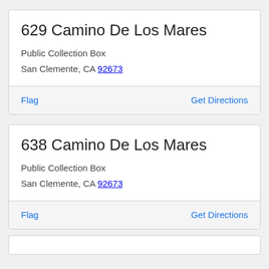629 Camino De Los Mares
Public Collection Box
San Clemente, CA 92673
Flag    Get Directions
638 Camino De Los Mares
Public Collection Box
San Clemente, CA 92673
Flag    Get Directions